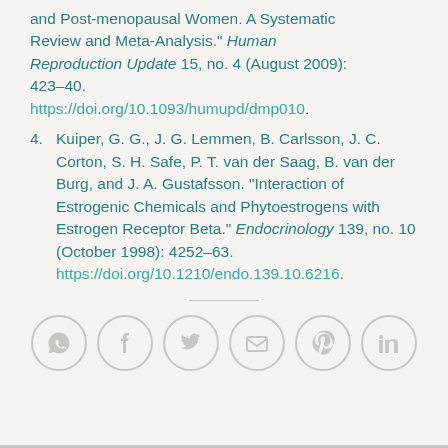and Post-menopausal Women. A Systematic Review and Meta-Analysis." Human Reproduction Update 15, no. 4 (August 2009): 423–40. https://doi.org/10.1093/humupd/dmp010.
4. Kuiper, G. G., J. G. Lemmen, B. Carlsson, J. C. Corton, S. H. Safe, P. T. van der Saag, B. van der Burg, and J. A. Gustafsson. "Interaction of Estrogenic Chemicals and Phytoestrogens with Estrogen Receptor Beta." Endocrinology 139, no. 10 (October 1998): 4252–63. https://doi.org/10.1210/endo.139.10.6216.
[Figure (other): Social sharing icons: WhatsApp, Facebook, Twitter, Email, Pinterest, LinkedIn arranged in a horizontal row of circles]